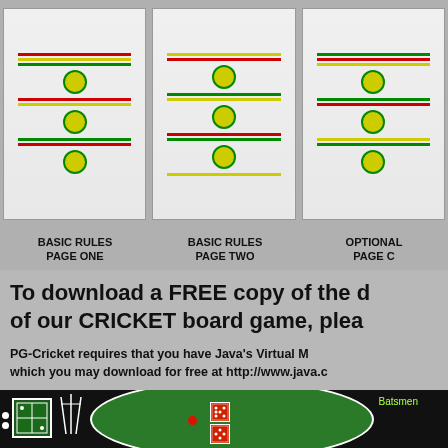[Figure (illustration): Three document page thumbnails showing Basic Rules Page One, Basic Rules Page Two, and Optional Page C of a Cricket board game rulebook]
BASIC RULES
PAGE ONE
BASIC RULES
PAGE TWO
OPTIONAL
PAGE C
To download a FREE copy of the d of our CRICKET board game, plea
PG-Cricket requires that you have Java's Virtual M which you may download for free at http://www.java.c
[Figure (illustration): Cricket board game screenshot showing a cricket pitch oval on a black background with green field, dice, batsmen label, and game elements]